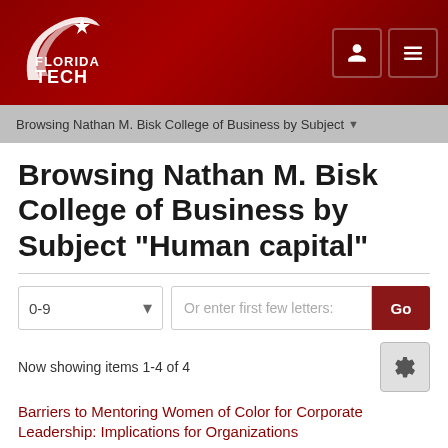[Figure (logo): Florida Tech university logo with star graphic on dark red background header]
Browsing Nathan M. Bisk College of Business by Subject
Browsing Nathan M. Bisk College of Business by Subject "Human capital"
Now showing items 1-4 of 4
Barriers to Mentoring Women of Color for Corporate Leadership: Implications for Organizations
Smith, Donna Marie (2018-12)
Mentoring as a human capital development initiative is critical to leadership development for organizational sustainment. Previous